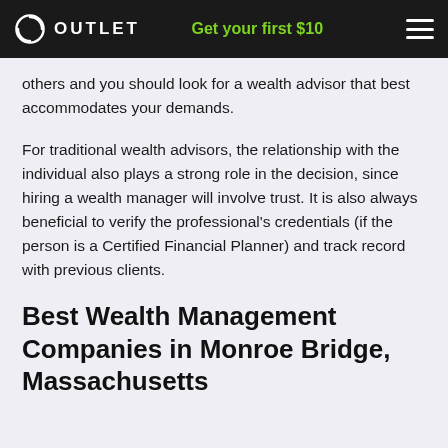OUTLET  Get your first $10
others and you should look for a wealth advisor that best accommodates your demands.
For traditional wealth advisors, the relationship with the individual also plays a strong role in the decision, since hiring a wealth manager will involve trust. It is also always beneficial to verify the professional's credentials (if the person is a Certified Financial Planner) and track record with previous clients.
Best Wealth Management Companies in Monroe Bridge, Massachusetts